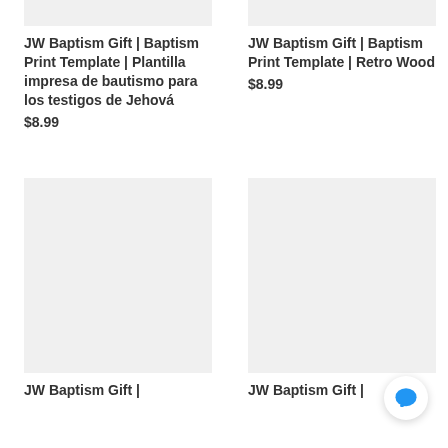[Figure (photo): Product image placeholder top-left, light gray rectangle]
JW Baptism Gift | Baptism Print Template | Plantilla impresa de bautismo para los testigos de Jehová
$8.99
[Figure (photo): Product image placeholder top-right, light gray rectangle]
JW Baptism Gift | Baptism Print Template | Retro Wood
$8.99
[Figure (photo): Product image placeholder bottom-left, light gray rectangle]
JW Baptism Gift |
[Figure (photo): Product image placeholder bottom-right, light gray rectangle]
JW Baptism Gift |